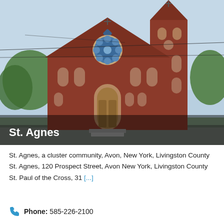[Figure (photo): Photograph of St. Agnes Catholic Church, a red brick Gothic-style church with pointed arches, rose window, and bell tower, located in Avon, New York. Text overlay reads 'St. Agnes' in white bold font at bottom left.]
St. Agnes, a cluster community, Avon, New York, Livingston County
St. Agnes, 120 Prospect Street, Avon New York, Livingston County
St. Paul of the Cross, 31 [...]
Phone: 585-226-2100